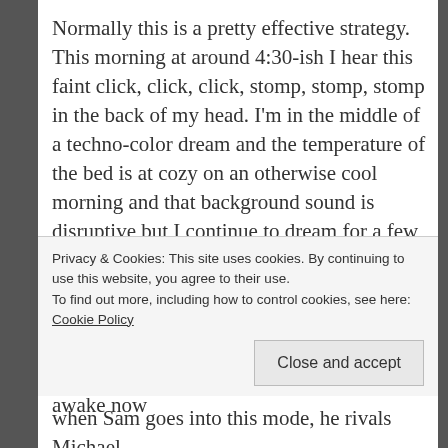Normally this is a pretty effective strategy. This morning at around 4:30-ish I hear this faint click, click, click, stomp, stomp, stomp in the back of my head. I'm in the middle of a techno-color dream and the temperature of the bed is at cozy on an otherwise cool morning and that background sound is disruptive but I continue to dream for a few more seconds. Click, click, click, stomp, stomp, stomp. This means Sam has gotten up from his bed, walked around my bed to see my face with the hope that my eyes will open and the day will begin. I'm fully awake now
Privacy & Cookies: This site uses cookies. By continuing to use this website, you agree to their use.
To find out more, including how to control cookies, see here: Cookie Policy
Close and accept
when Sam goes into this mode, he rivals Michael